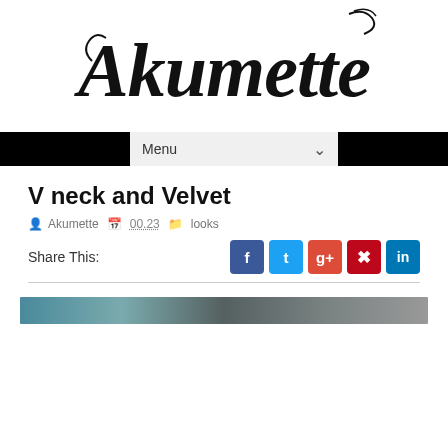[Figure (logo): Akumette blog logo in ornate blackletter/gothic font style, black on white]
[Figure (screenshot): Navigation bar with black blocks on left and right, and a 'Menu' dropdown in the center on light grey background]
V neck and Velvet
Akumette   00.23   looks
Share This:
[Figure (screenshot): Social media share buttons: Facebook (blue), Twitter (light blue), Google+ (red-orange), Pinterest (dark red), LinkedIn (blue)]
[Figure (photo): Partial photo strip visible at bottom of page, appears to be a portrait/fashion photo]